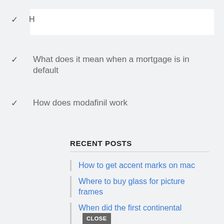✓  H
✓  What does it mean when a mortgage is in default
✓  How does modafinil work
RECENT POSTS
How to get accent marks on mac
Where to buy glass for picture frames
When did the first continental  CLOSE